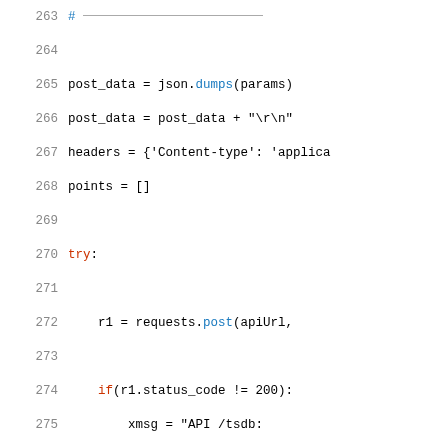[Figure (screenshot): Python source code snippet showing lines 263-282, with syntax highlighting. Lines include post_data, headers, points assignments, a try block, requests.post call, status_code check, xmsg assignments, raise RestAPIError, response = json.loads, and points = response['datapoints'].]